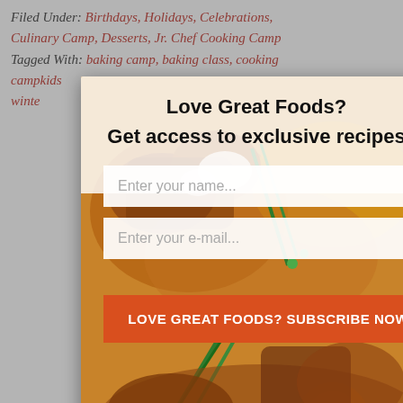Filed Under: Birthdays, Holidays, Celebrations, Culinary Camp, Desserts, Jr. Chef Cooking Camp
Tagged With: baking camp, baking class, cooking camp, kids winter...
[Figure (other): Modal popup overlay with food photo background (golden fried food with green onions). Contains headline 'Love Great Foods? Get access to exclusive recipes', two input fields 'Enter your name...' and 'Enter your e-mail...', and a red subscribe button 'LOVE GREAT FOODS? SUBSCRIBE NOW!'. Has a close X button in the top right corner.]